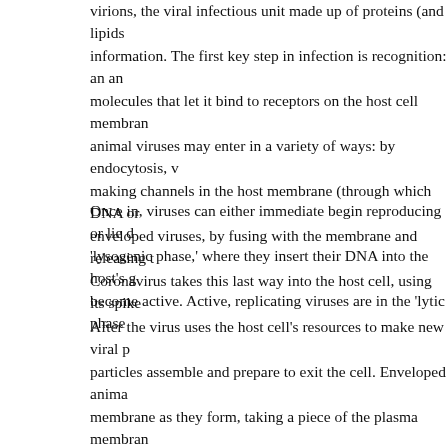Virions, the viral infectious unit made up of proteins (and lipids) information. The first key step in infection is recognition: an an molecules that let it bind to receptors on the host cell membrane animal viruses may enter in a variety of ways: by endocytosis, w making channels in the host membrane (through which DNA or enveloped viruses, by fusing with the membrane and releasing t Coronavirus takes this last way into the host cell, using its spike
Once in, viruses can either immediate begin reproducing or lie d 'lysogenic phase,' where they insert their DNA into the host's g become active. Active, replicating viruses are in the 'lytic phase
After the virus uses the host cell's resources to make new viral p particles assemble and prepare to exit the cell. Enveloped anima membrane as they form, taking a piece of the plasma membrane process. In contrast, non-enveloped virus particles, such as rhin infected cells and produce enzymes that degrade the host's cell m ruptures and the particles are released.